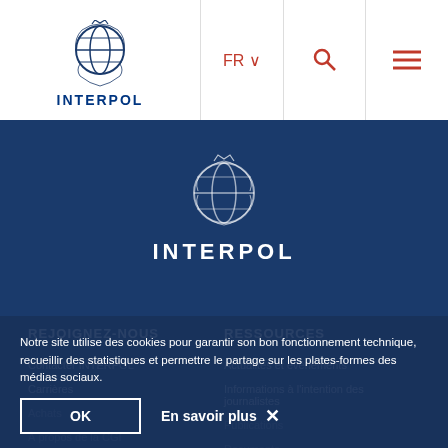[Figure (logo): INTERPOL logo with globe emblem and text INTERPOL in navy blue in header]
[Figure (logo): INTERPOL globe emblem logo white on dark blue banner with text INTERPOL below]
REJOIGNEZ-NOUS
RESSOURCES
Contacter INTERPOL
Actualités et événements
Carrières
Informations à l'intention des journalistes
Notre site utilise des cookies pour garantir son bon fonctionnement technique, recueillir des statistiques et permettre le partage sur les plates-formes des médias sociaux.
OK
En savoir plus ✕